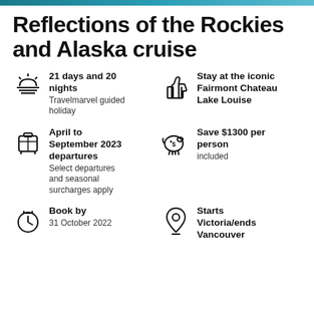Reflections of the Rockies and Alaska cruise
21 days and 20 nights
Travelmarvel guided holiday
Stay at the iconic Fairmont Chateau Lake Louise
April to September 2023 departures
Select departures and seasonal surcharges apply
Save $1300 per person
included
Book by
31 October 2022
Starts Victoria/ends Vancouver